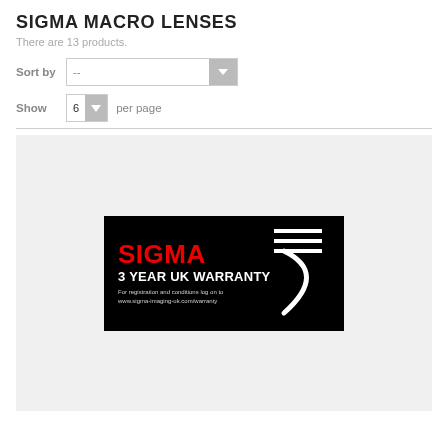SIGMA MACRO LENSES
There are 13 products.
Sort by  --
Show 6 per page
[Figure (logo): Sigma 3 Year UK Warranty banner on black background. Red text reads SIGMA, white text reads 3 YEAR UK WARRANTY with a stylized large 3. Small text: For registration and conditions log on to www.sigma-imaging-uk.com/warranty]